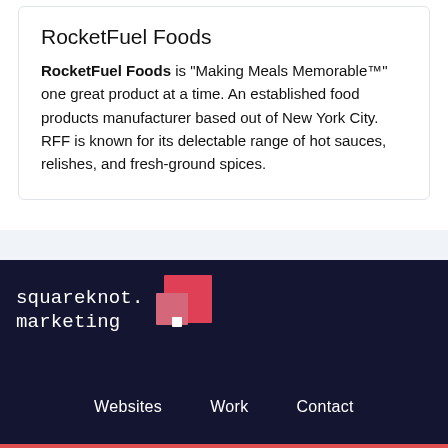RocketFuel Foods
RocketFuel Foods is "Making Meals Memorable™" one great product at a time. An established food products manufacturer based out of New York City. RFF is known for its delectable range of hot sauces, relishes, and fresh-ground spices.
[Figure (logo): squareknot marketing logo — white text on dark navy background with a pink/red square grid icon]
Websites   Work   Contact